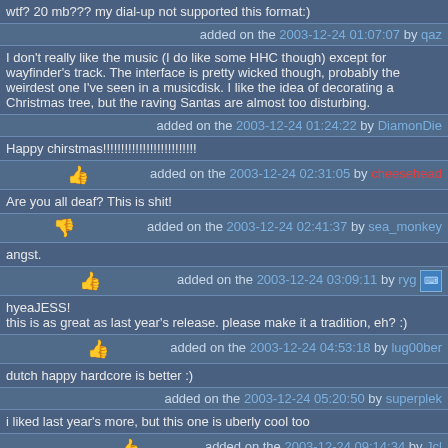wtf? 20 mb??? my dial-up not supported this format:)
added on the 2003-12-24 01:07:07 by qaz
I don't really like the music (I do like some HHC though) except for wayfinder's track. The interface is pretty wicked though, probably the weirdest one I've seen in a musicdisk. I like the idea of decorating a Christmas tree, but the raving Santas are almost too disturbing.
added on the 2003-12-24 01:24:22 by DiamonDie
Happy chirstmas!!!!!!!!!!!!!!!!!!!!!!!!!!
added on the 2003-12-24 02:31:05 by cheesehead
Are you all deaf? This is shit!
added on the 2003-12-24 02:41:37 by sea_monkey
angst.
added on the 2003-12-24 03:09:11 by ryg
hyeaJESS!
this is as great as last year's release. please make it a tradition, eh? :)
added on the 2003-12-24 04:53:18 by lug00ber
dutch happy hardcore is better :)
added on the 2003-12-24 05:20:50 by superplek
i liked last year's more, but this one is uberly cool too
added on the 2003-12-24 09:14:34 by Jcl
plek: compared to your average charlie lownoise & mental theo track, this isn't bad at all. but true, okkie and the party animals do it better.
added on the 2003-12-24 11:31:37 by skrebbel
hahaha! :) merry christmas!